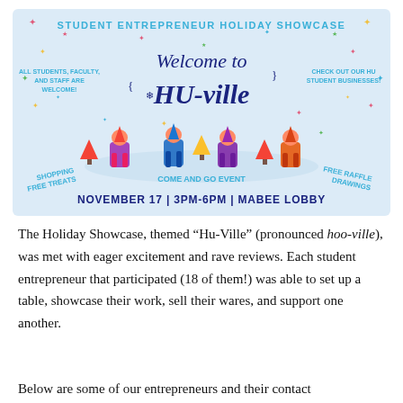[Figure (illustration): Promotional banner for Student Entrepreneur Holiday Showcase themed 'Welcome to HU-ville'. Light blue background with colorful illustrated characters/elves in a winter scene. Text includes: 'STUDENT ENTREPRENEUR HOLIDAY SHOWCASE', 'Welcome to HU-ville', 'ALL STUDENTS, FACULTY, AND STAFF ARE WELCOME!', 'CHECK OUT OUR HU STUDENT BUSINESSES!', 'SHOPPING', 'FREE TREATS', 'COME AND GO EVENT', 'FREE RAFFLE DRAWINGS', 'NOVEMBER 17 | 3PM-6PM | MABEE LOBBY'. Decorative stars and snowflakes scattered throughout.]
The Holiday Showcase, themed "Hu-Ville" (pronounced hoo-ville), was met with eager excitement and rave reviews. Each student entrepreneur that participated (18 of them!) was able to set up a table, showcase their work, sell their wares, and support one another.
Below are some of our entrepreneurs and their contact